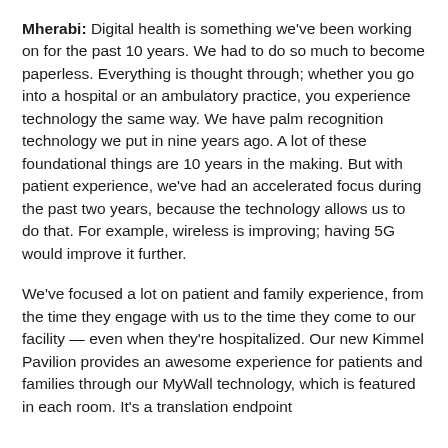Mherabi: Digital health is something we've been working on for the past 10 years. We had to do so much to become paperless. Everything is thought through; whether you go into a hospital or an ambulatory practice, you experience technology the same way. We have palm recognition technology we put in nine years ago. A lot of these foundational things are 10 years in the making. But with patient experience, we've had an accelerated focus during the past two years, because the technology allows us to do that. For example, wireless is improving; having 5G would improve it further.
We've focused a lot on patient and family experience, from the time they engage with us to the time they come to our facility — even when they're hospitalized. Our new Kimmel Pavilion provides an awesome experience for patients and families through our MyWall technology, which is featured in each room. It's a translation endpoint